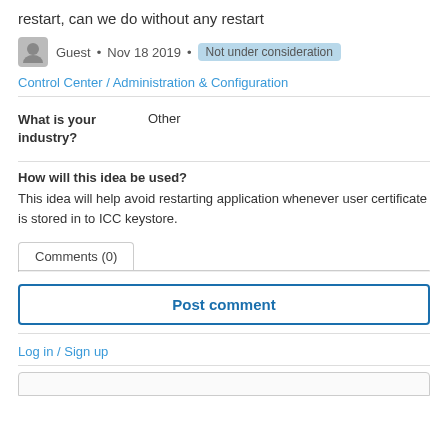restart, can we do without any restart
Guest • Nov 18 2019 • Not under consideration
Control Center / Administration & Configuration
| What is your industry? |  |
| --- | --- |
| What is your industry? | Other |
How will this idea be used?
This idea will help avoid restarting application whenever user certificate is stored in to ICC keystore.
Comments (0)
Post comment
Log in / Sign up